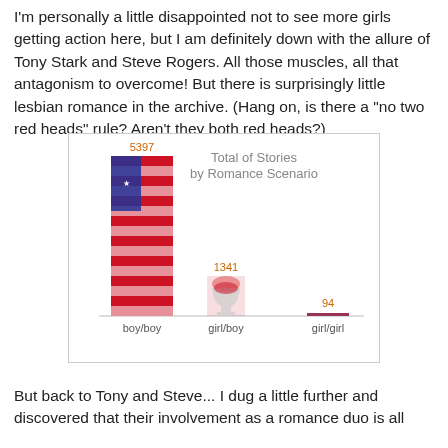I'm personally a little disappointed not to see more girls getting action here, but I am definitely down with the allure of Tony Stark and Steve Rogers. All those muscles, all that antagonism to overcome! But there is surprisingly little lesbian romance in the archive. (Hang on, is there a "no two red heads" rule? Aren't they both red heads?)
[Figure (bar-chart): Total of Stories by Romance Scenario]
But back to Tony and Steve... I dug a little further and discovered that their involvement as a romance duo is all